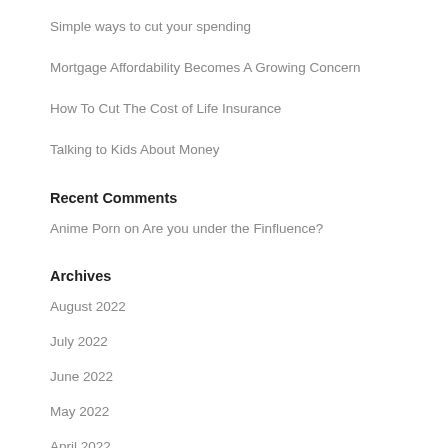Simple ways to cut your spending
Mortgage Affordability Becomes A Growing Concern
How To Cut The Cost of Life Insurance
Talking to Kids About Money
Recent Comments
Anime Porn on Are you under the Finfluence?
Archives
August 2022
July 2022
June 2022
May 2022
April 2022
March 2022